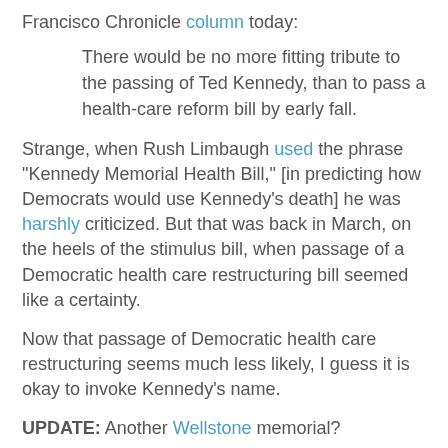Francisco Chronicle column today:
There would be no more fitting tribute to the passing of Ted Kennedy, than to pass a health-care reform bill by early fall.
Strange, when Rush Limbaugh used the phrase "Kennedy Memorial Health Bill," [in predicting how Democrats would use Kennedy's death] he was harshly criticized. But that was back in March, on the heels of the stimulus bill, when passage of a Democratic health care restructuring bill seemed like a certainty.
Now that passage of Democratic health care restructuring seems much less likely, I guess it is okay to invoke Kennedy's name.
UPDATE: Another Wellstone memorial?
--------------------------------------------
Related Posts:
Leave Our Vending Machines Alone
Throw Out The Democratic Health Care Sponge...